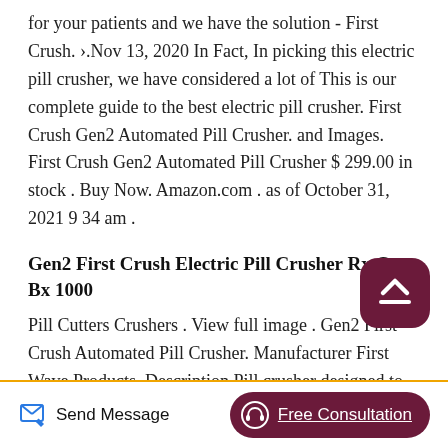for your patients and we have the solution - First Crush. ›.Nov 13, 2020 In Fact, In picking this electric pill crusher, we have considered a lot of This is our complete guide to the best electric pill crusher. First Crush Gen2 Automated Pill Crusher. and Images. First Crush Gen2 Automated Pill Crusher $ 299.00 in stock . Buy Now. Amazon.com . as of October 31, 2021 9 34 am .
Gen2 First Crush Electric Pill Crusher Rx Cups Bx 1000
Pill Cutters Crushers . View full image . Gen2 First Crush Automated Pill Crusher. Manufacturer First Wave Products. Description Pill crusher designed to medicines when medications include amt